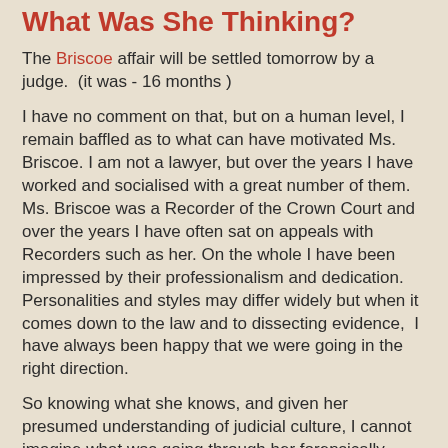What Was She Thinking?
The Briscoe affair will be settled tomorrow by a judge.  (it was - 16 months )
I have no comment on that, but on a human level, I remain baffled as to what can have motivated Ms. Briscoe. I am not a lawyer, but over the years I have worked and socialised with a great number of them. Ms. Briscoe was a Recorder of the Crown Court and over the years I have often sat on appeals with Recorders such as her. On the whole I have been impressed by their professionalism and dedication. Personalities and styles may differ widely but when it comes down to the law and to dissecting evidence,  I have always been happy that we were going in the right direction.
So knowing what she knows, and given her presumed understanding of judicial culture, I cannot imagine what was going through her forensically trained mind when she made the fatal decisions that she did.
Was it misguided loyalty to a friend? Hubris? Something Else?